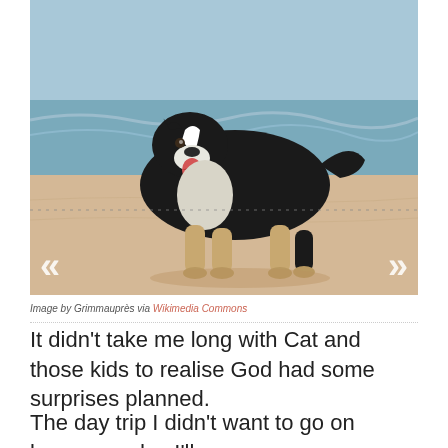[Figure (photo): A black and white Border Collie dog standing on a sandy beach with ocean waves in the background. The dog is facing left with its tongue out, looking happy.]
Image by Grimmauprès via Wikimedia Commons
It didn't take me long with Cat and those kids to realise God had some surprises planned.
The day trip I didn't want to go on became a day I'll